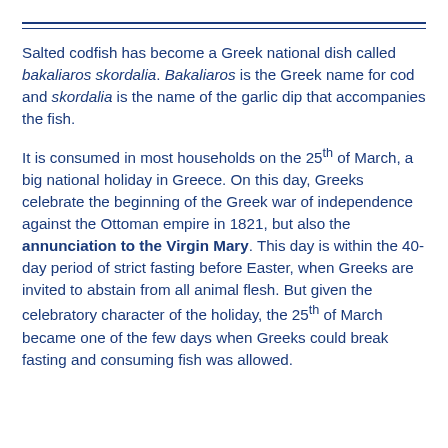Salted codfish has become a Greek national dish called bakaliaros skordalia. Bakaliaros is the Greek name for cod and skordalia is the name of the garlic dip that accompanies the fish.
It is consumed in most households on the 25th of March, a big national holiday in Greece. On this day, Greeks celebrate the beginning of the Greek war of independence against the Ottoman empire in 1821, but also the annunciation to the Virgin Mary. This day is within the 40-day period of strict fasting before Easter, when Greeks are invited to abstain from all animal flesh. But given the celebratory character of the holiday, the 25th of March became one of the few days when Greeks could break fasting and consuming fish was allowed.